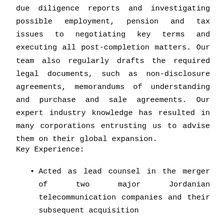due diligence reports and investigating possible employment, pension and tax issues to negotiating key terms and executing all post-completion matters. Our team also regularly drafts the required legal documents, such as non-disclosure agreements, memorandums of understanding and purchase and sale agreements. Our expert industry knowledge has resulted in many corporations entrusting us to advise them on their global expansion.
Key Experience:
Acted as lead counsel in the merger of two major Jordanian telecommunication companies and their subsequent acquisition